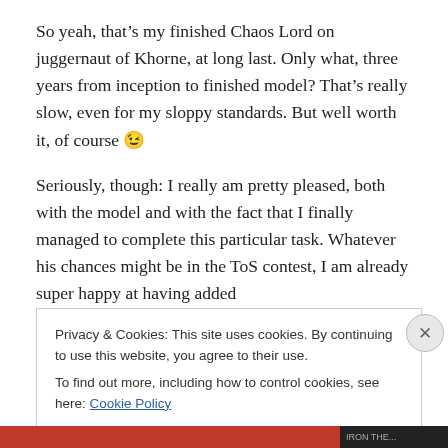So yeah, that’s my finished Chaos Lord on juggernaut of Khorne, at long last. Only what, three years from inception to finished model? That’s really slow, even for my sloppy standards. But well worth it, of course 😉
Seriously, though: I really am pretty pleased, both with the model and with the fact that I finally managed to complete this particular task. Whatever his chances might be in the ToS contest, I am already super happy at having added
Privacy & Cookies: This site uses cookies. By continuing to use this website, you agree to their use.
To find out more, including how to control cookies, see here: Cookie Policy